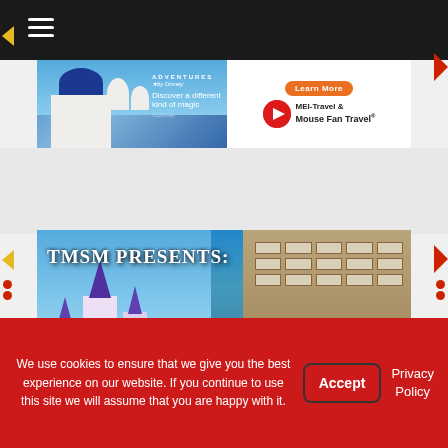[Figure (screenshot): Website navigation bar with dark background and hamburger menu icon]
[Figure (screenshot): Adventures by Disney advertisement banner with MEI-Travel and Mouse Fan Travel logo and Learn More button]
[Figure (photo): TMSM Presents: Current Disney promotional banner with castle, trees, and hotel building backdrop]
We use cookies to ensure that we give you the best experience on our website. If you continue to use this site we will assume that you are happy with it.
Accept
Privacy Policy